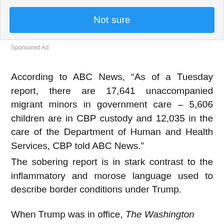[Figure (other): Blue button labeled 'Not sure' within a light gray bordered box]
Sponsored Ad
According to ABC News, “As of a Tuesday report, there are 17,641 unaccompanied migrant minors in government care – 5,606 children are in CBP custody and 12,035 in the care of the Department of Human and Health Services, CBP told ABC News.”
The sobering report is in stark contrast to the inflammatory and morose language used to describe border conditions under Trump.
When Trump was in office, The Washington Post wrote: